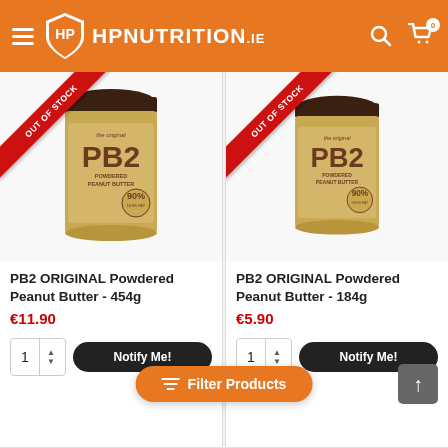HP NUTRITION.ie
[Figure (photo): PB2 Original Powdered Peanut Butter 454g jar with Out of Stock banner]
PB2 ORIGINAL Powdered Peanut Butter - 454g
€11.90
Notify Me!
[Figure (photo): PB2 Original Powdered Peanut Butter 184g jar with Out of Stock banner]
PB2 ORIGINAL Powdered Peanut Butter - 184g
€5.90
Notify Me!
Filter Products